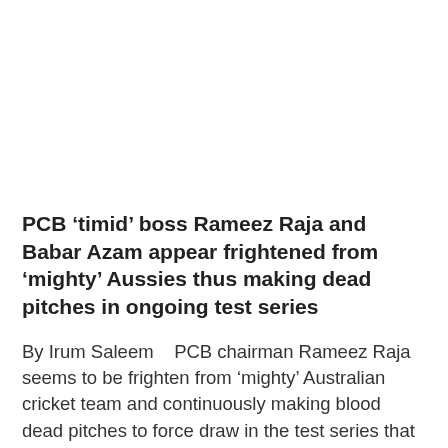PCB ‘timid’ boss Rameez Raja and Babar Azam appear frightened from ‘mighty’ Aussies thus making dead pitches in ongoing test series
By Irum Saleem   PCB chairman Rameez Raja seems to be frighten from ‘mighty’ Australian cricket team and continuously making blood dead pitches to force draw in the test series that taking place after 24…
Read More